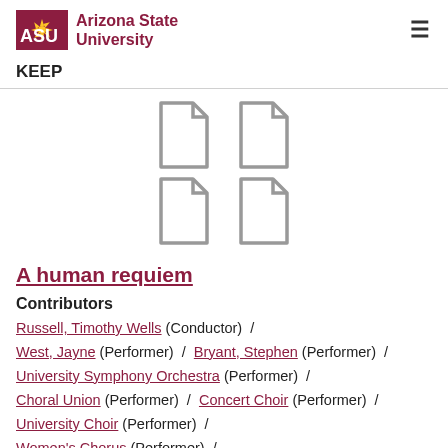ASU Arizona State University
KEEP
[Figure (illustration): Four document/file icons arranged in a 2x2 grid]
A human requiem
Contributors
Russell, Timothy Wells (Conductor) / West, Jayne (Performer) / Bryant, Stephen (Performer) / University Symphony Orchestra (Performer) / Choral Union (Performer) / Concert Choir (Performer) / University Choir (Performer) / Women's Chorus (Performer) / ASU Library. Music Library (Publisher)